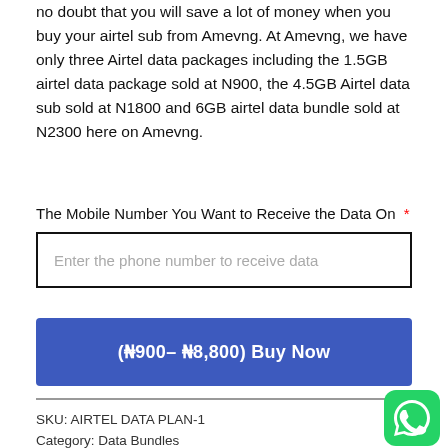no doubt that you will save a lot of money when you buy your airtel sub from Amevng. At Amevng, we have only three Airtel data packages including the 1.5GB airtel data package sold at N900, the 4.5GB Airtel data sub sold at N1800 and 6GB airtel data bundle sold at N2300 here on Amevng.
The Mobile Number You Want to Receive the Data On *
Enter the phone number to receive data
(₦900– ₦8,800) Buy Now
SKU: AIRTEL DATA PLAN-1
Category: Data Bundles